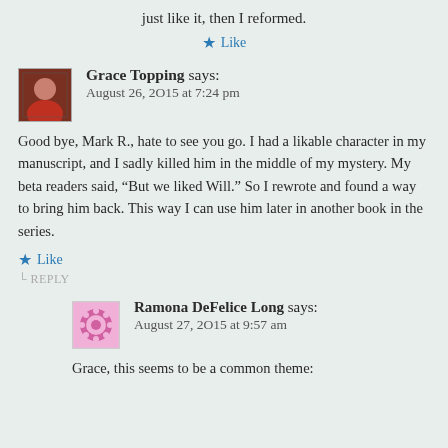just like it, then I reformed.
Like
Grace Topping says:
August 26, 2015 at 7:24 pm
Good bye, Mark R., hate to see you go. I had a likable character in my manuscript, and I sadly killed him in the middle of my mystery. My beta readers said, “But we liked Will.” So I rewrote and found a way to bring him back. This way I can use him later in another book in the series.
Like
└ REPLY
Ramona DeFelice Long says:
August 27, 2015 at 9:57 am
Grace, this seems to be a common theme: